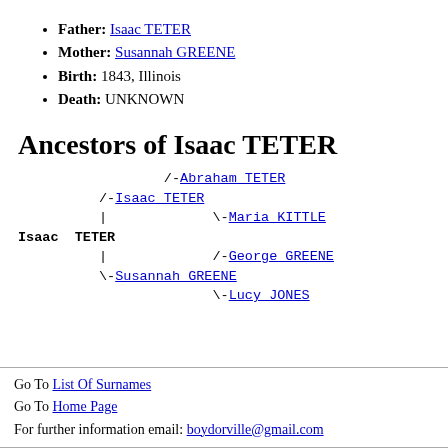Father: Isaac TETER
Mother: Susannah GREENE
Birth: 1843, Illinois
Death: UNKNOWN
Ancestors of Isaac TETER
[Figure (other): Genealogical ancestor tree for Isaac TETER showing: /-Abraham TETER, /-Isaac TETER, | \-Maria KITTLE, Isaac TETER, | /-George GREENE, \-Susannah GREENE, \-Lucy JONES]
Go To List Of Surnames
Go To Home Page
For further information email: boydorville@gmail.com